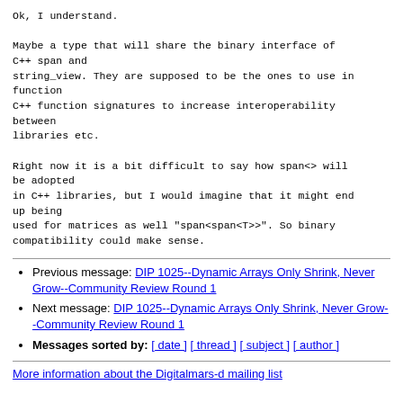Ok, I understand.

Maybe a type that will share the binary interface of
C++ span and
string_view. They are supposed to be the ones to use in function
C++ function signatures to increase interoperability between
libraries etc.

Right now it is a bit difficult to say how span<> will be adopted
in C++ libraries, but I would imagine that it might end up being
used for matrices as well "span<span<T>>". So binary compatibility could make sense.
Previous message: DIP 1025--Dynamic Arrays Only Shrink, Never Grow--Community Review Round 1
Next message: DIP 1025--Dynamic Arrays Only Shrink, Never Grow--Community Review Round 1
Messages sorted by: [ date ] [ thread ] [ subject ] [ author ]
More information about the Digitalmars-d mailing list